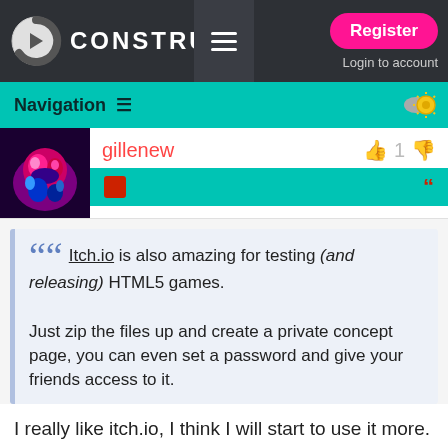[Figure (screenshot): Construct game engine website header with logo, hamburger menu, Register button, and Login to account link on dark background]
Navigation
gillenew
[Figure (photo): User avatar with colorful abstract art - pink, blue, purple tones]
Itch.io is also amazing for testing (and releasing) HTML5 games.

Just zip the files up and create a private concept page, you can even set a password and give your friends access to it.
I really like itch.io, I think I will start to use it more.
Thank you for remember this option.
TRY CONSTRUCT 3